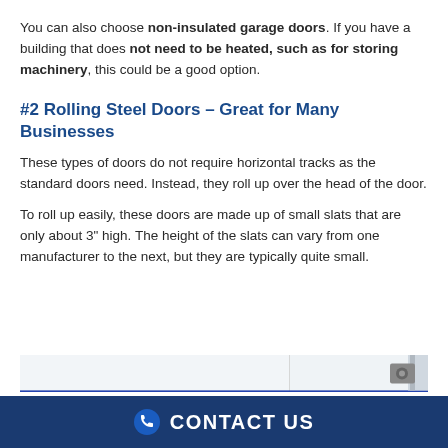You can also choose non-insulated garage doors. If you have a building that does not need to be heated, such as for storing machinery, this could be a good option.
#2 Rolling Steel Doors – Great for Many Businesses
These types of doors do not require horizontal tracks as the standard doors need. Instead, they roll up over the head of the door.
To roll up easily, these doors are made up of small slats that are only about 3" high. The height of the slats can vary from one manufacturer to the next, but they are typically quite small.
[Figure (photo): Photo of a blue rolling steel door mechanism at the bottom of the frame, showing the rolled-up door coil and track hardware against a white door panel background.]
CONTACT US